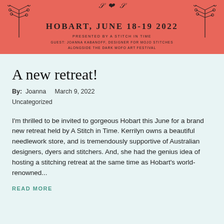[Figure (illustration): Salmon/coral colored event banner for a needlework retreat in Hobart, June 18-19 2022, presented by A Stitch in Time, with decorative branch illustrations on left and right sides and text details about the event.]
A new retreat!
By: Joanna   March 9, 2022
Uncategorized
I'm thrilled to be invited to gorgeous Hobart this June for a brand new retreat held by A Stitch in Time. Kerrilyn owns a beautiful needlework store, and is tremendously supportive of Australian designers, dyers and stitchers. And, she had the genius idea of hosting a stitching retreat at the same time as Hobart's world-renowned...
READ MORE